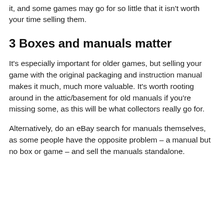it, and some games may go for so little that it isn't worth your time selling them.
3 Boxes and manuals matter
It's especially important for older games, but selling your game with the original packaging and instruction manual makes it much, much more valuable. It's worth rooting around in the attic/basement for old manuals if you're missing some, as this will be what collectors really go for.
Alternatively, do an eBay search for manuals themselves, as some people have the opposite problem – a manual but no box or game – and sell the manuals standalone.